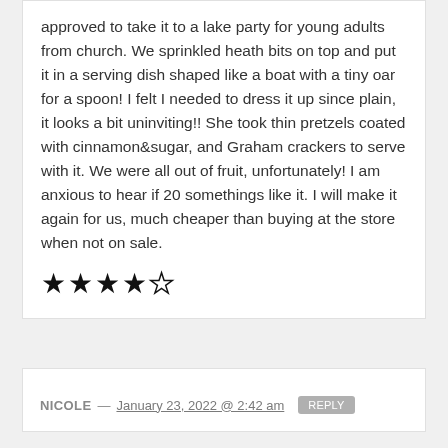approved to take it to a lake party for young adults from church. We sprinkled heath bits on top and put it in a serving dish shaped like a boat with a tiny oar for a spoon! I felt I needed to dress it up since plain, it looks a bit uninviting!! She took thin pretzels coated with cinnamon&sugar, and Graham crackers to serve with it. We were all out of fruit, unfortunately! I am anxious to hear if 20 somethings like it. I will make it again for us, much cheaper than buying at the store when not on sale.
[Figure (other): 4 out of 5 stars rating (4 filled stars, 1 empty star)]
NICOLE — January 23, 2022 @ 2:42 am  REPLY